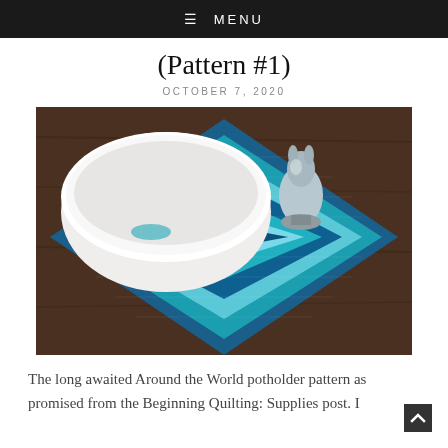≡ MENU
(Pattern #1)
OCTOBER 7, 2020
[Figure (photo): A blue and teal log cabin style quilted potholder placed on a dark wooden table, with a white ceramic bowl and a small metallic figurine of a cat or rabbit on top of it. The potholder has concentric diamond-shaped strips of various shades of blue and teal fabric with a small peach/salmon colored square in the center.]
The long awaited Around the World potholder pattern as promised from the Beginning Quilting: Supplies post. I